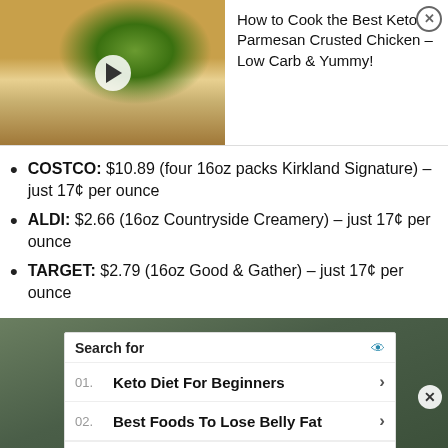[Figure (screenshot): Video thumbnail showing keto parmesan crusted chicken dish with broccoli, with a play button overlay]
How to Cook the Best Keto Parmesan Crusted Chicken – Low Carb & Yummy!
COSTCO: $10.89 (four 16oz packs Kirkland Signature) – just 17¢ per ounce
ALDI: $2.66 (16oz Countryside Creamery) – just 17¢ per ounce
TARGET: $2.79 (16oz Good & Gather) – just 17¢ per ounce
[Figure (screenshot): Yahoo Search sponsored ad overlay showing Search for: 01. Keto Diet For Beginners, 02. Best Foods To Lose Belly Fat]